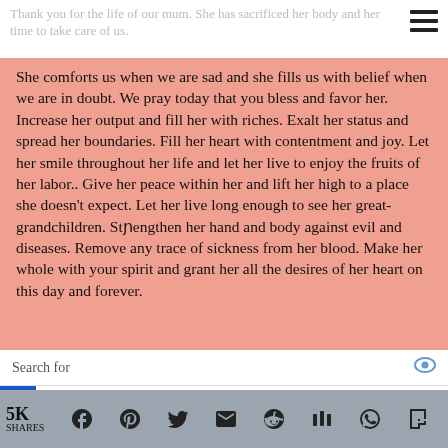Thank you for the life of our mum. She has sacrificed her body and her time to take care of us.
She comforts us when we are sad and she fills us with belief when we are in doubt. We pray today that you bless and favor her. Increase her output and fill her with riches. Exalt her status and spread her boundaries. Fill her heart with contentment and joy. Let her smile throughout her life and let her live to enjoy the fruits of her labor.. Give her peace within her and lift her high to a place she doesn't expect. Let her live long enough to see her great-grandchildren. Strengthen her hand and body against evil and diseases. Remove any trace of sickness from her blood. Make her whole with your spirit and grant her all the desires of her heart on this day and forever.
Search for
Short Birthday Wishes
5K SHARES